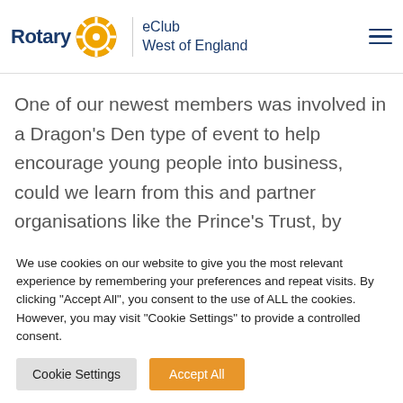Rotary eClub West of England
can we be more radical or innovative in our thinking to help get young people back today?
One of our newest members was involved in a Dragon's Den type of event to help encourage young people into business, could we learn from this and partner organisations like the Prince's Trust, by providing mentors. How can we help young people think beyond the film star or football career path and
We use cookies on our website to give you the most relevant experience by remembering your preferences and repeat visits. By clicking "Accept All", you consent to the use of ALL the cookies. However, you may visit "Cookie Settings" to provide a controlled consent.